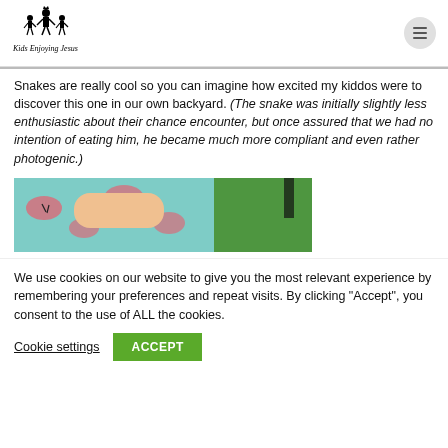Kids Enjoying Jesus
Snakes are really cool so you can imagine how excited my kiddos were to discover this one in our own backyard. (The snake was initially slightly less enthusiastic about their chance encounter, but once assured that we had no intention of eating him, he became much more compliant and even rather photogenic.)
[Figure (photo): Close-up photo showing a child's arm in a teal/mint watermelon-print shirt against green grass background, with a snake visible.]
We use cookies on our website to give you the most relevant experience by remembering your preferences and repeat visits. By clicking “Accept”, you consent to the use of ALL the cookies.
Cookie settings  ACCEPT